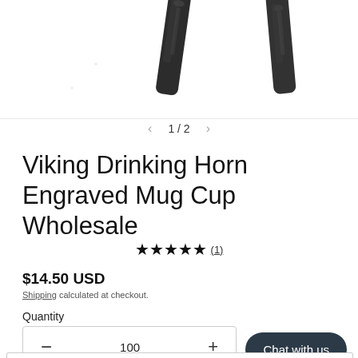[Figure (photo): Two dark Viking drinking horn mug cups shown partially from above against a white background]
< 1 / 2 >
Viking Drinking Horn Engraved Mug Cup Wholesale
★★★★★ (1)
$14.50 USD
Shipping calculated at checkout.
Quantity
− 100 +
Chat with us